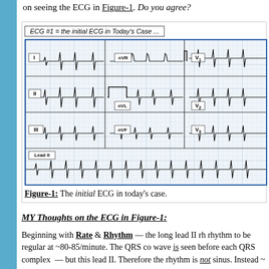on seeing the ECG in Figure-1. Do you agree?
[Figure (other): ECG tracing showing leads I, II, III, nVR, nVL, nVF, V1, V2, V3, and Lead II rhythm strip. Label at top reads: ECG #1 = the initial ECG in Today's Case ...]
Figure-1: The initial ECG in today's case.
MY Thoughts on the ECG in Figure-1:
Beginning with Rate & Rhythm — the long lead II rh rhythm to be regular at ~80-85/minute. The QRS co wave is seen before each QRS complex — but this lead II. Therefore the rhythm is not sinus. Instead ~